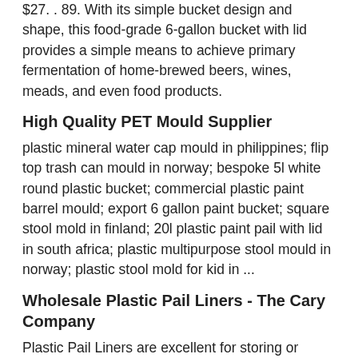$27. . 89. With its simple bucket design and shape, this food-grade 6-gallon bucket with lid provides a simple means to achieve primary fermentation of home-brewed beers, wines, meads, and even food products.
High Quality PET Mould Supplier
plastic mineral water cap mould in philippines; flip top trash can mould in norway; bespoke 5l white round plastic bucket; commercial plastic paint barrel mould; export 6 gallon paint bucket; square stool mold in finland; 20l plastic paint pail with lid in south africa; plastic multipurpose stool mould in norway; plastic stool mold for kid in ...
Wholesale Plastic Pail Liners - The Cary Company
Plastic Pail Liners are excellent for storing or mixing a variety of products. These bucket liners pay for themselves by eliminating the time and labor involved in